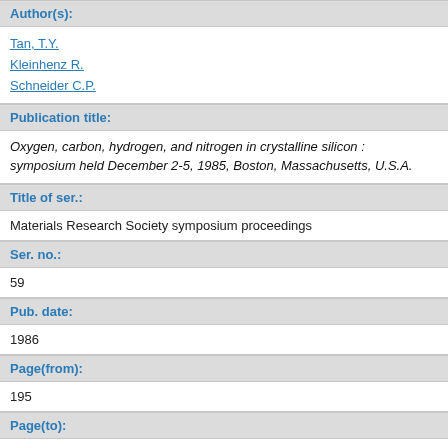Author(s):
Tan, T.Y.
Kleinhenz R.
Schneider C.P.
Publication title:
Oxygen, carbon, hydrogen, and nitrogen in crystalline silicon : symposium held December 2-5, 1985, Boston, Massachusetts, U.S.A.
Title of ser.:
Materials Research Society symposium proceedings
Ser. no.:
59
Pub. date:
1986
Page(from):
195
Page(to):
204